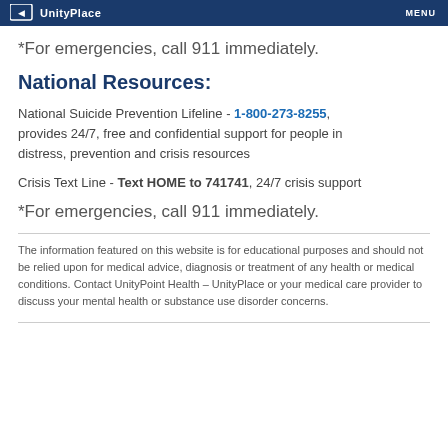UnityPlace  MENU
*For emergencies, call 911 immediately.
National Resources:
National Suicide Prevention Lifeline - 1-800-273-8255, provides 24/7, free and confidential support for people in distress, prevention and crisis resources
Crisis Text Line - Text HOME to 741741, 24/7 crisis support
*For emergencies, call 911 immediately.
The information featured on this website is for educational purposes and should not be relied upon for medical advice, diagnosis or treatment of any health or medical conditions. Contact UnityPoint Health – UnityPlace or your medical care provider to discuss your mental health or substance use disorder concerns.